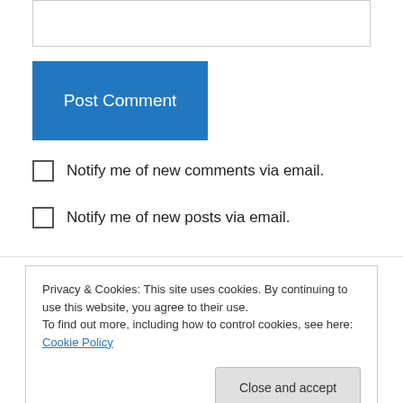[Figure (screenshot): Empty text input box at top of page]
Post Comment
Notify me of new comments via email.
Notify me of new posts via email.
Clio on August 8, 2012 at 9:31 am
Oh! I love the piping details! Good save on the
Privacy & Cookies: This site uses cookies. By continuing to use this website, you agree to their use.
To find out more, including how to control cookies, see here: Cookie Policy
Close and accept